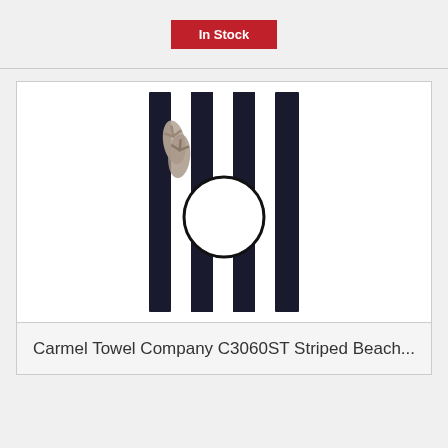In Stock
[Figure (photo): Black and white striped beach towel with a white circle monogram area in the center, with a pair of tan flip flops resting at the top left corner of the towel.]
Carmel Towel Company C3060ST Striped Beach...